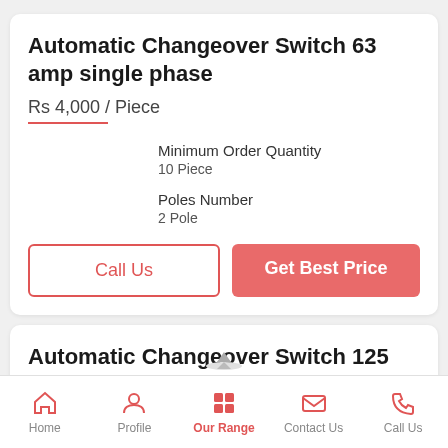Automatic Changeover Switch 63 amp single phase
Rs 4,000 / Piece
Minimum Order Quantity
10 Piece
Poles Number
2 Pole
Call Us
Get Best Price
Automatic Changeover Switch 125 amp
Home | Profile | Our Range | Contact Us | Call Us